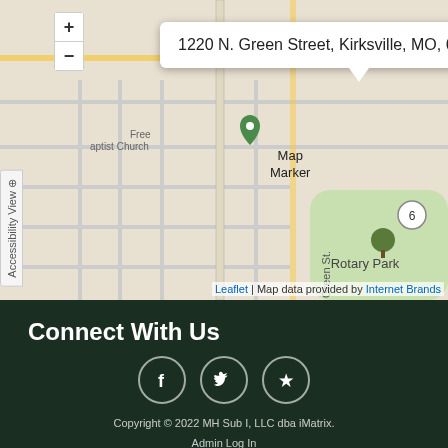[Figure (map): Street map showing location at 1220 N. Green Street, Kirksville, MO, 63501, US. Map shows N Green St running vertically, surrounding streets in a grid, and Rotary Park to the right. A popup tooltip shows the address. Map data provided by Leaflet and Internet Brands.]
Connect With Us
[Figure (other): Three circular social media icons: Facebook (f), Twitter (bird), and Yelp (star/burst)]
Copyright © 2022 MH Sub I, LLC dba iMatrix.
Admin Log In
Site Map